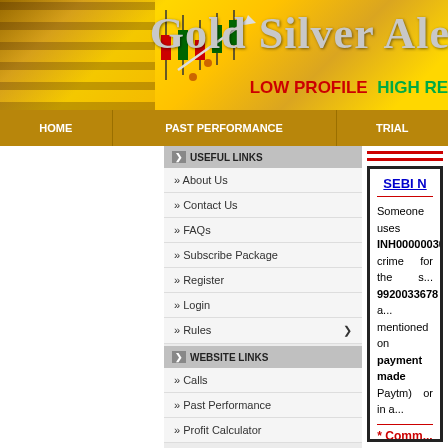[Figure (screenshot): Gold Silver Alerts website header banner with golden background, candlestick chart icon, site title 'Gold Silver Ale...' and tagline 'LOW PROFILE HIGH RE...']
HOME | PAST PERFORMANCE | TRIAL
USEFUL LINKS
» About Us
» Contact Us
» FAQs
» Subscribe Package
» Register
» Login
» Rules
WEBSITE LINKS
» Calls
» Past Performance
» Profit Calculator
SEBI N... Someone uses INH000000303... crime for the s... 9920033678 a... mentioned on... payment made... Paytm) or in a...
* Comm...